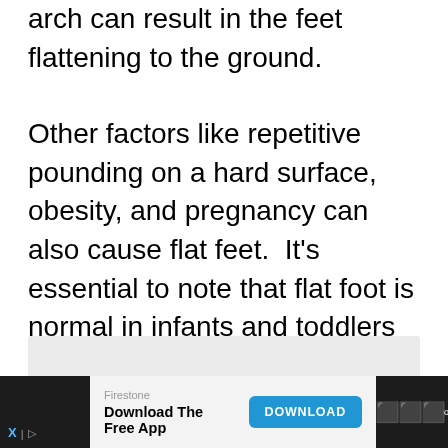arch can result in the feet flattening to the ground.
Other factors like repetitive pounding on a hard surface,  obesity, and pregnancy can also cause flat feet.  It’s essential to note that flat foot is normal in infants and toddlers as their foot’s arch hasn’t developed fully.  Some people may develop arches, but some do not.
[Figure (other): Gray placeholder box for an image or advertisement content]
Firestone Download The Free App  DOWNLOAD